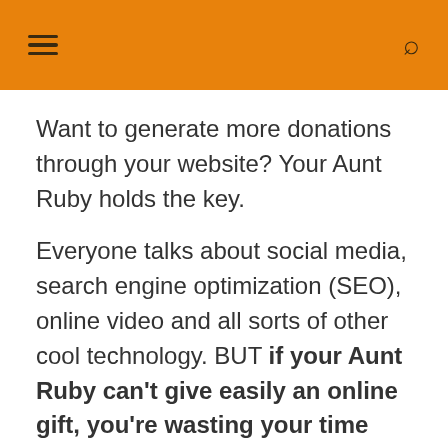≡  🔍
Want to generate more donations through your website? Your Aunt Ruby holds the key.
Everyone talks about social media, search engine optimization (SEO), online video and all sorts of other cool technology. BUT if your Aunt Ruby can't give easily an online gift, you're wasting your time with all that stuff.